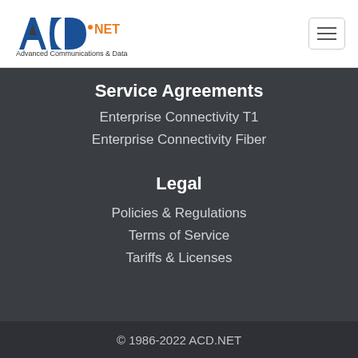[Figure (logo): ACD.NET Advanced Communications & Data logo with hamburger menu button]
Service Agreements
Enterprise Connectivity T1
Enterprise Connectivity Fiber
Legal
Policies & Regulations
Terms of Service
Tariffs & Licenses
© 1986-2022 ACD.NET